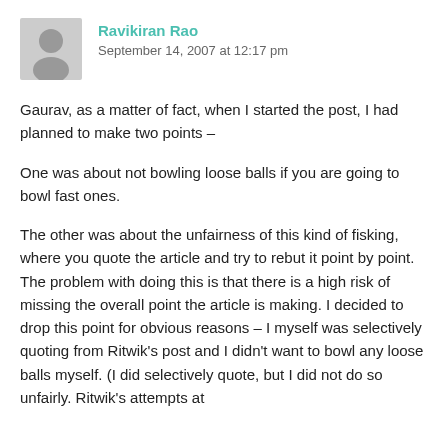Ravikiran Rao
September 14, 2007 at 12:17 pm
Gaurav, as a matter of fact, when I started the post, I had planned to make two points –
One was about not bowling loose balls if you are going to bowl fast ones.
The other was about the unfairness of this kind of fisking, where you quote the article and try to rebut it point by point. The problem with doing this is that there is a high risk of missing the overall point the article is making. I decided to drop this point for obvious reasons – I myself was selectively quoting from Ritwik's post and I didn't want to bowl any loose balls myself. (I did selectively quote, but I did not do so unfairly. Ritwik's attempts at